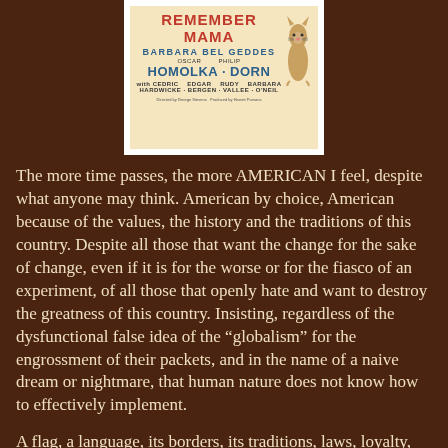[Figure (photo): Movie poster for 'Remember Mama' featuring Barbara Bel Geddes, Oscar Homolka, Philip Dorn, with supporting cast Hardwicke, Bergen, Vallee, O'Neil. White border, cream background with red and blue text and a cat illustration.]
The more time passes, the more AMERICAN I feel, despite what anyone may think. American by choice, American because of the values, the history and the traditions of this country. Despite all those that want the change for the sake of change, even if it is for the worse or for the fiasco of an experiment, of all those that openly hate and want to destroy the greatness of this country. Insisting, regardless of the dysfunctional false idea of the “globalism” for the engrossment of their packets, and in the name of a naive dream or nightmare, that human nature does not know how to effectively implement.
A flag, a language, its borders, its traditions, laws, loyalty, culture, way of life; that is what holds the cohesion and identity of a country, that is what makes it CIVILIZED. That is what it makes possible its humanity, the value of life and liberty. Its articles of Constitution, its Laws, compromise, respect and agreement to respect everyone else’s liberties